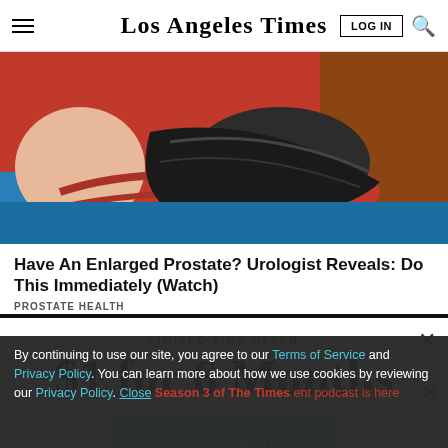Los Angeles Times
[Figure (illustration): Illustrated image of a person in red and black clothing lying on a blue surface, style suggests a health/medical advertisement]
Have An Enlarged Prostate? Urologist Reveals: Do This Immediately (Watch)
PROSTATE HEALTH
LIMITED-TIME OFFER
$1 for 6 Months
SUBSCRIBE NOW
By continuing to use our site, you agree to our Terms of Service and Privacy Policy. You can learn more about how we use cookies by reviewing our Privacy Policy. Close